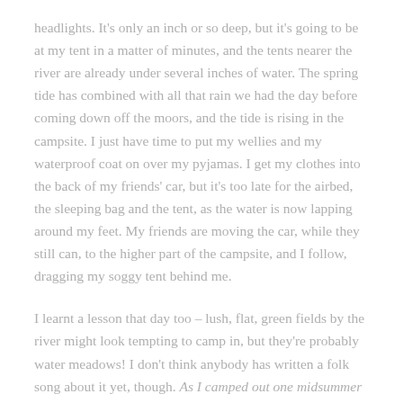headlights. It's only an inch or so deep, but it's going to be at my tent in a matter of minutes, and the tents nearer the river are already under several inches of water. The spring tide has combined with all that rain we had the day before coming down off the moors, and the tide is rising in the campsite. I just have time to put my wellies and my waterproof coat on over my pyjamas. I get my clothes into the back of my friends' car, but it's too late for the airbed, the sleeping bag and the tent, as the water is now lapping around my feet. My friends are moving the car, while they still can, to the higher part of the campsite, and I follow, dragging my soggy tent behind me.
I learnt a lesson that day too – lush, flat, green fields by the river might look tempting to camp in, but they're probably water meadows! I don't think anybody has written a folk song about it yet, though. As I camped out one midsummer morning, I saw the tide wash away my